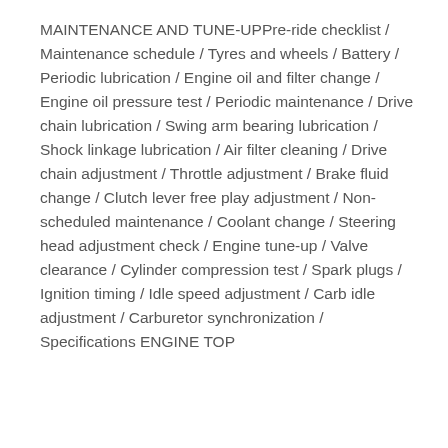MAINTENANCE AND TUNE-UPPre-ride checklist / Maintenance schedule / Tyres and wheels / Battery / Periodic lubrication / Engine oil and filter change / Engine oil pressure test / Periodic maintenance / Drive chain lubrication / Swing arm bearing lubrication / Shock linkage lubrication / Air filter cleaning / Drive chain adjustment / Throttle adjustment / Brake fluid change / Clutch lever free play adjustment / Non-scheduled maintenance / Coolant change / Steering head adjustment check / Engine tune-up / Valve clearance / Cylinder compression test / Spark plugs / Ignition timing / Idle speed adjustment / Carb idle adjustment / Carburetor synchronization / Specifications ENGINE TOP